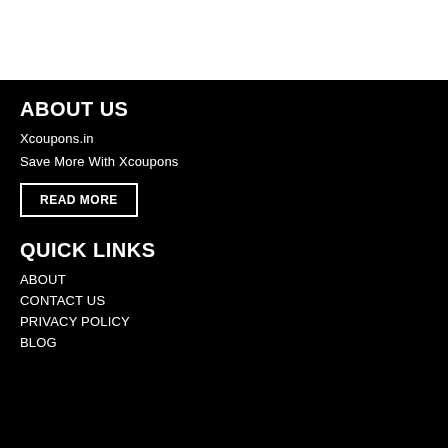ABOUT US
Xcoupons.in
Save More With Xcoupons
READ MORE
QUICK LINKS
ABOUT
CONTACT US
PRIVACY POLICY
BLOG